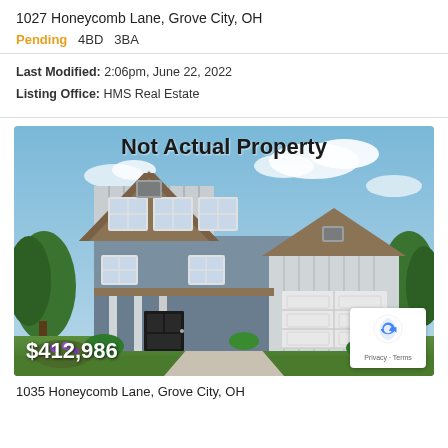1027 Honeycomb Lane, Grove City, OH
Pending   4BD   3BA
Last Modified: 2:06pm, June 22, 2022
Listing Office: HMS Real Estate
[Figure (photo): Rendering of a two-story farmhouse-style home with blue siding, white trim, covered porch, two-car garage, green landscaping. Watermark text: Not Actual Property. Price overlay: $412,986. reCAPTCHA badge bottom right.]
1035 Honeycomb Lane, Grove City, OH